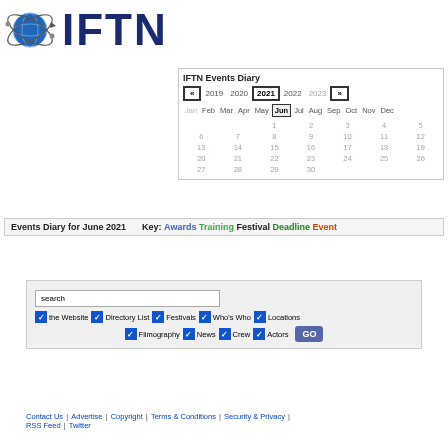[Figure (logo): IFTN globe logo with atom/satellite orbits, blue globe, beside large dark blue bold text IFTN]
IFTN Events Diary
« 2019 2020 2021 2022 2023 »
Jan Feb Mar Apr May Jun Jul Aug Sep Oct Nov Dec
|  |  |  |  |  |  |  |
| --- | --- | --- | --- | --- | --- | --- |
|  |  | 1 | 2 | 3 | 4 | 5 |
| 6 | 7 | 8 | 9 | 10 | 11 | 12 |
| 13 | 14 | 15 | 16 | 17 | 18 | 19 |
| 20 | 21 | 22 | 23 | 24 | 25 | 26 |
| 27 | 28 | 29 | 30 |  |  |  |
Events Diary for June 2021    Key: Awards Training Festival Deadline Event
search
the Website  Directory List  Festivals  Who's Who  Locations  Filmography  News  Crew  Actors  GO
Contact Us | Advertise | Copyright | Terms & Conditions | Security & Privacy | RSS Feed | Twitter